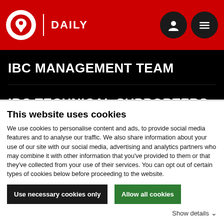IBC DAILY
IBC MANAGEMENT TEAM
IBC TECHNICAL SUPPORTERS
IBCTV PARTNERS
ADVERTISE WITH US
This website uses cookies
We use cookies to personalise content and ads, to provide social media features and to analyse our traffic. We also share information about your use of our site with our social media, advertising and analytics partners who may combine it with other information that you've provided to them or that they've collected from your use of their services. You can opt out of certain types of cookies below before proceeding to the website.
Use necessary cookies only | Allow all cookies
Show details